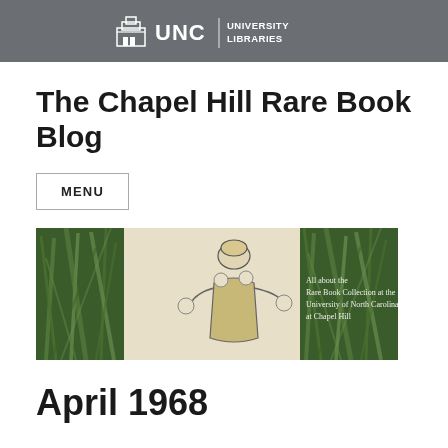UNC UNIVERSITY LIBRARIES
The Chapel Hill Rare Book Blog
MENU
[Figure (illustration): Banner image with a medieval or Renaissance-style illustration of a robed figure on a beige background flanked by green grass/reed imagery on both sides. Text overlay reads: 'All about the Rare Book Collection at the University of North Carolina at Chapel Hill']
April 1968